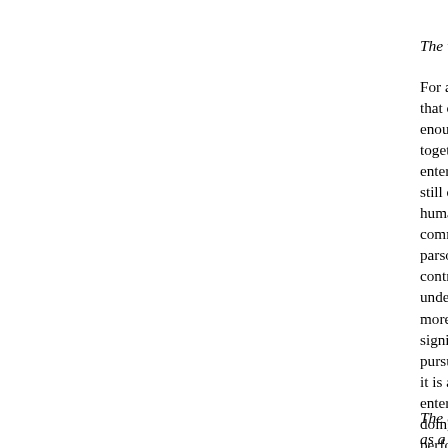The village as a social unit
For a child the structure of a v- that of a town. Its outlines are enough scale to be fully under- together at the parish meeting entertainment; despite cinema still depends largely on the eff- human society many villages a- communities. All kinds of peo- parson, blacksmith, labourer - contribute to the common poo- understand and take part in thi- moreover, greater scope for th- significant part and to live a li- pursuits there are simple (and it is altogether easier in an inti- enter into the spirit of Chester- doing is worth doing badly", a- performer, whether on the vill- village hall.
The countryside
as a playground and a worksh-